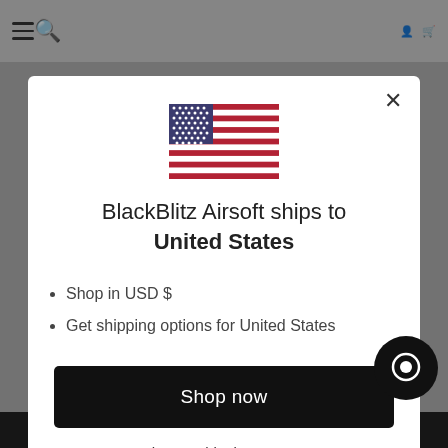BlackBlitz Airsoft navigation bar with hamburger menu, search, logo, and cart icons
[Figure (screenshot): US flag emoji / illustration in the modal]
BlackBlitz Airsoft ships to United States
Shop in USD $
Get shipping options for United States
Shop now
Change shipping country
PRIVACY POLICY   ACCEPT ✔